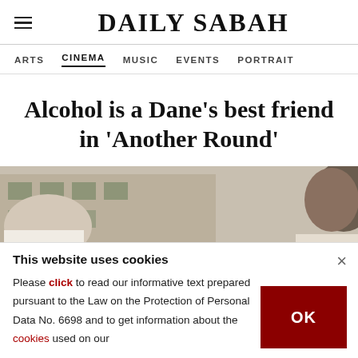DAILY SABAH
ARTS  CINEMA  MUSIC  EVENTS  PORTRAIT
Alcohol is a Dane's best friend in 'Another Round'
[Figure (photo): Photograph showing a person outdoors, appears to be a still from the film 'Another Round']
This website uses cookies
Please click to read our informative text prepared pursuant to the Law on the Protection of Personal Data No. 6698 and to get information about the cookies used on our